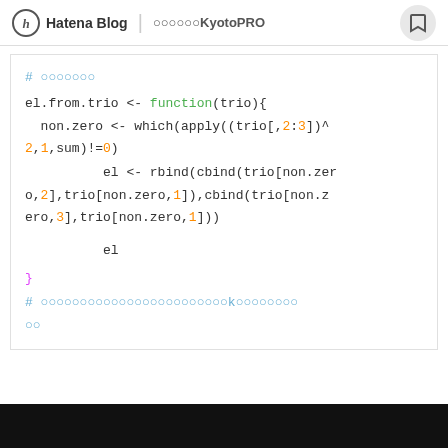Hatena Blog | ○○○○○○KyotoPRO
[Figure (screenshot): R code block showing el.from.trio function definition with syntax highlighting. Comments in blue, keywords in magenta, functions in green, numbers in orange.]